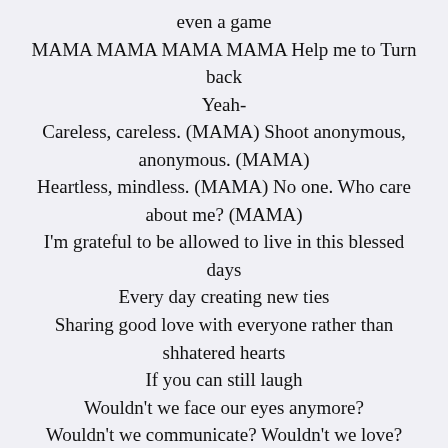even a game
MAMA MAMA MAMA MAMA Help me to Turn back
Yeah-
Careless, careless. (MAMA) Shoot anonymous, anonymous. (MAMA)
Heartless, mindless. (MAMA) No one. Who care about me? (MAMA)
I'm grateful to be allowed to live in this blessed days
Every day creating new ties
Sharing good love with everyone rather than shhatered hearts
If you can still laugh
Wouldn't we face our eyes anymore?
Wouldn't we communicate? Wouldn't we love?
Tearing up to the reality that hurts